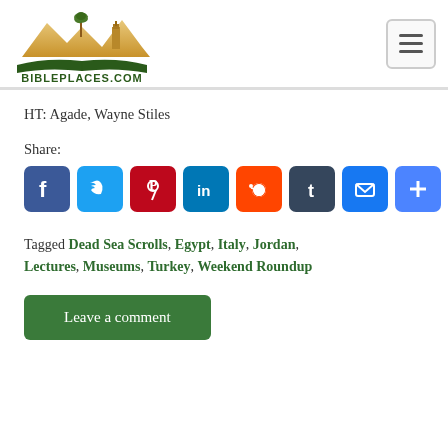BiblePlaces.com
HT: Agade, Wayne Stiles
Share:
[Figure (infographic): Row of social media sharing icons: Facebook, Twitter, Pinterest, LinkedIn, Reddit, Tumblr, Email, More]
Tagged Dead Sea Scrolls, Egypt, Italy, Jordan, Lectures, Museums, Turkey, Weekend Roundup
Leave a comment